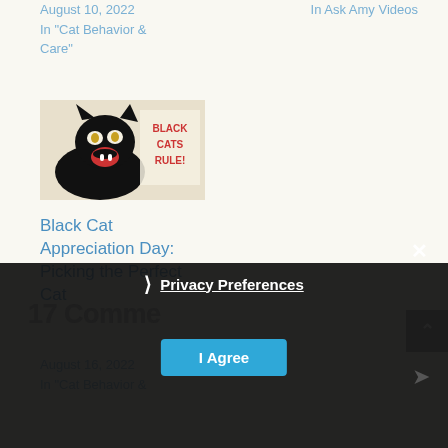August 10, 2022
In "Cat Behavior & Care"
In  Ask Amy Videos
[Figure (photo): Black kitten with mouth open, text overlay reads 'BLACK CATS RULE!' in red]
Black Cat Appreciation Day: Picking the Perfect Cat
August 16, 2022
In "Cat Behavior & Care"
17 Comme
❯ Privacy Preferences
I Agree